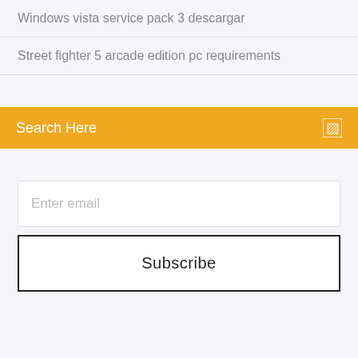Windows vista service pack 3 descargar
Street fighter 5 arcade edition pc requirements
Search Here
Enter email
Subscribe